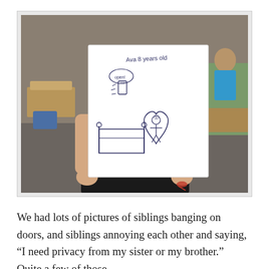[Figure (photo): A child in a classroom holding up a hand-drawn picture on white paper. The drawing shows stick figures, a bed, a heart shape, and a phone with 'open!' written in a speech bubble. The paper is labeled 'Ava 8 years old' in handwriting. The child is wearing dark clothing and has a bracelet. A classroom with desks and other students is visible in the background.]
We had lots of pictures of siblings banging on doors, and siblings annoying each other and saying, “I need privacy from my sister or my brother.” Quite a few of those.